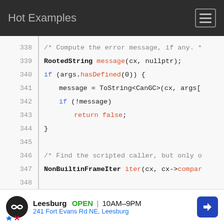Hot Examples
[Figure (screenshot): Code viewer showing lines 338-351 of C++ source code with syntax highlighting]
[Figure (infographic): Advertisement banner for Leesburg store: OPEN 10AM-9PM, 241 Fort Evans Rd NE, Leesburg]